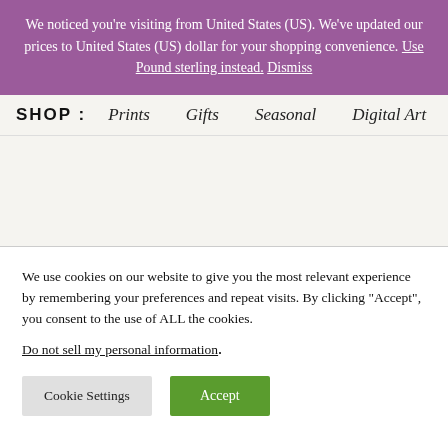We noticed you're visiting from United States (US). We've updated our prices to United States (US) dollar for your shopping convenience. Use Pound sterling instead. Dismiss
SHOP :   Prints   Gifts   Seasonal   Digital Art
We use cookies on our website to give you the most relevant experience by remembering your preferences and repeat visits. By clicking “Accept”, you consent to the use of ALL the cookies.
Do not sell my personal information.
Cookie Settings   Accept